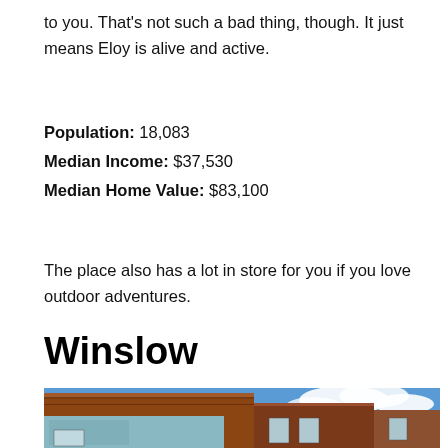to you. That's not such a bad thing, though. It just means Eloy is alive and active.
Population: 18,083
Median Income: $37,530
Median Home Value: $83,100
The place also has a lot in store for you if you love outdoor adventures.
Winslow
[Figure (photo): Street-level view of historic brick buildings in Winslow, Arizona, with blue sky and clouds in the background. The buildings show murals and storefronts.]